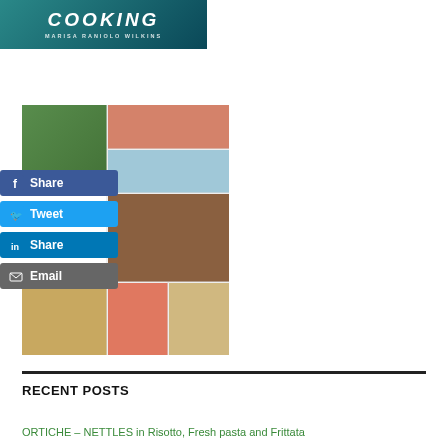[Figure (photo): Book cover banner for a cooking book by Marisa Raniolo Wilkins showing 'COOKING' and author name on a teal/dark background]
[Figure (photo): Book cover collage for 'Small Fishy Bites' by Marisa Raniolo Wilkins showing multiple food photos and social share buttons (Facebook Share, Tweet, LinkedIn Share, Email) overlaid on the left side]
[Figure (screenshot): Social media share buttons: Facebook Share (blue), Tweet (light blue), LinkedIn Share (dark blue), Email (grey)]
RECENT POSTS
ORTICHE – NETTLES in Risotto, Fresh pasta and Frittata